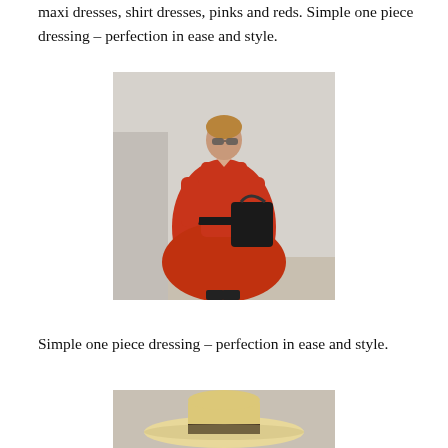maxi dresses, shirt dresses, pinks and reds.  Simple one piece dressing – perfection in ease  and style.
[Figure (photo): A woman wearing a red belted shirt dress, sunglasses, and black sandals, holding a large black leather tote bag, standing against a light grey wall.]
Simple one piece dressing – perfection in ease  and style.
[Figure (photo): Partial view of a person wearing a wide-brimmed straw hat with a dark band, cropped at bottom of page.]